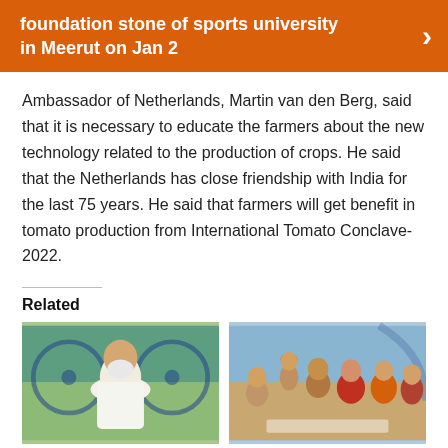foundation stone of sports university in Meerut on Jan 2
Ambassador of Netherlands, Martin van den Berg, said that it is necessary to educate the farmers about the new technology related to the production of crops. He said that the Netherlands has close friendship with India for the last 75 years. He said that farmers will get benefit in tomato production from International Tomato Conclave-2022.
Related
[Figure (photo): Photo of a person (likely PM Modi) in white clothing with Indian flags in the background]
[Figure (photo): Group photo of people in traditional Indian attire at an event]